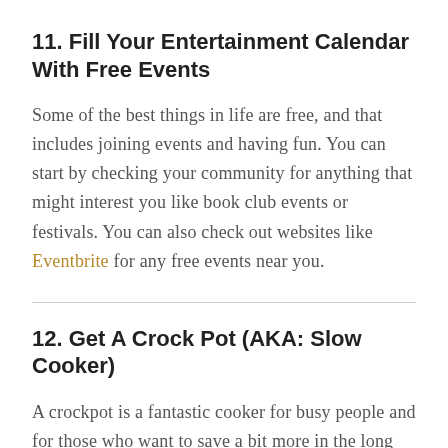11. Fill Your Entertainment Calendar With Free Events
Some of the best things in life are free, and that includes joining events and having fun. You can start by checking your community for anything that might interest you like book club events or festivals. You can also check out websites like Eventbrite for any free events near you.
12. Get A Crock Pot (AKA: Slow Cooker)
A crockpot is a fantastic cooker for busy people and for those who want to save a bit more in the long run. You can leave the food